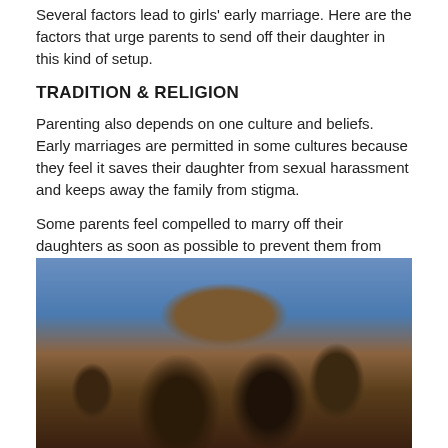Several factors lead to girls' early marriage. Here are the factors that urge parents to send off their daughter in this kind of setup.
TRADITION & RELIGION
Parenting also depends on one culture and beliefs. Early marriages are permitted in some cultures because they feel it saves their daughter from sexual harassment and keeps away the family from stigma.
Some parents feel compelled to marry off their daughters as soon as possible to prevent them from being sexually active before marriage, which would be a disgrace to their family and community.
[Figure (photo): Photo of young African children looking at the camera, with a tree trunk and a blue-shirted person visible in the background.]